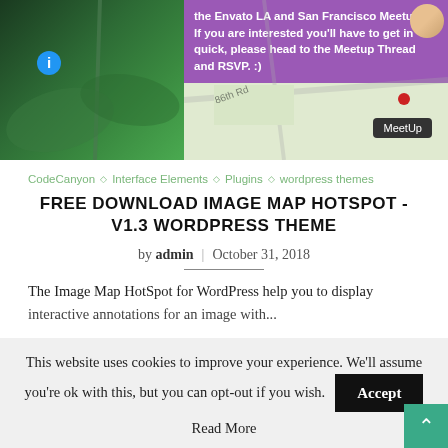[Figure (screenshot): Two side-by-side images at top: left is a nature/plant close-up photo on dark green background with blue info bubble icon; right is a map screenshot with purple tooltip bubble showing meetup text, a red pin marker, road label '86th Rd', and a dark 'MeetUp' button. A small avatar circle is in the top-right corner of the map.]
CodeCanyon ◇ Interface Elements ◇ Plugins ◇ wordpress themes
FREE DOWNLOAD IMAGE MAP HOTSPOT - V1.3 WORDPRESS THEME
by admin | October 31, 2018
The Image Map HotSpot for WordPress help you to display interactive annotations for an image with...
This website uses cookies to improve your experience. We'll assume you're ok with this, but you can opt-out if you wish. Accept
Read More